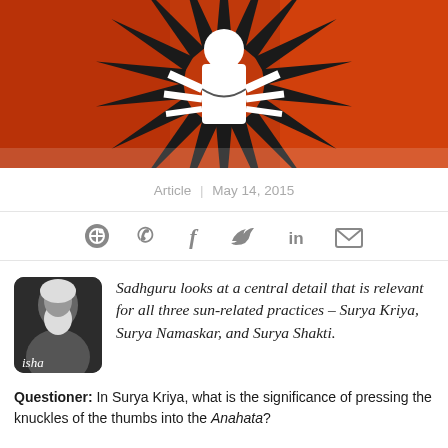[Figure (illustration): Decorative banner image showing a Hindu deity figure in namaste pose with multiple arms, surrounded by orange/red geometric patterns and black sunburst design.]
Article | May 14, 2015
[Figure (infographic): Social media sharing icons: WhatsApp, Facebook, Twitter, LinkedIn, Email]
[Figure (photo): Black and white photo of Sadhguru (elderly man with white beard and hair) with Isha logo overlay in bottom left corner.]
Sadhguru looks at a central detail that is relevant for all three sun-related practices – Surya Kriya, Surya Namaskar, and Surya Shakti.
Questioner: In Surya Kriya, what is the significance of pressing the knuckles of the thumbs into the Anahata?